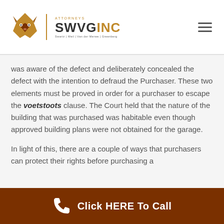SWVG INC Attorneys
was aware of the defect and deliberately concealed the defect with the intention to defraud the Purchaser. These two elements must be proved in order for a purchaser to escape the voetstoots clause. The Court held that the nature of the building that was purchased was habitable even though approved building plans were not obtained for the garage.
In light of this, there are a couple of ways that purchasers can protect their rights before purchasing a
Click HERE To Call